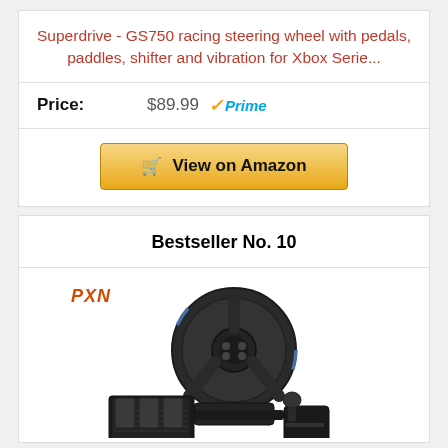Superdrive - GS750 racing steering wheel with pedals, paddles, shifter and vibration for Xbox Serie...
Price: $89.99 Prime
[Figure (screenshot): View on Amazon button with shopping cart icon]
Bestseller No. 10
[Figure (photo): PXN branded racing steering wheel with pedals and shifter accessory]